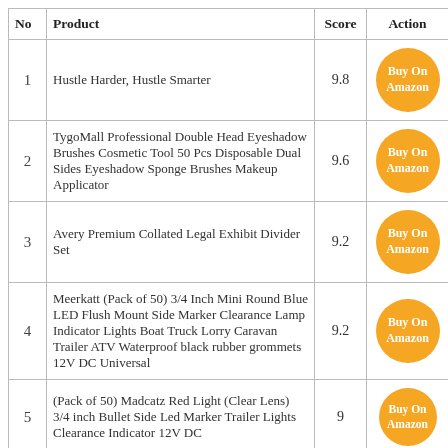| No | Product | Score | Action |
| --- | --- | --- | --- |
| 1 | Hustle Harder, Hustle Smarter | 9.8 | Buy On Amazon |
| 2 | TygoMall Professional Double Head Eyeshadow Brushes Cosmetic Tool 50 Pcs Disposable Dual Sides Eyeshadow Sponge Brushes Makeup Applicator | 9.6 | Buy On Amazon |
| 3 | Avery Premium Collated Legal Exhibit Divider Set | 9.2 | Buy On Amazon |
| 4 | Meerkatt (Pack of 50) 3/4 Inch Mini Round Blue LED Flush Mount Side Marker Clearance Lamp Indicator Lights Boat Truck Lorry Caravan Trailer ATV Waterproof black rubber grommets 12V DC Universal | 9.2 | Buy On Amazon |
| 5 | (Pack of 50) Madcatz Red Light (Clear Lens) 3/4 inch Bullet Side Led Marker Trailer Lights Clearance Indicator 12V DC | 9 | Buy On Amazon |